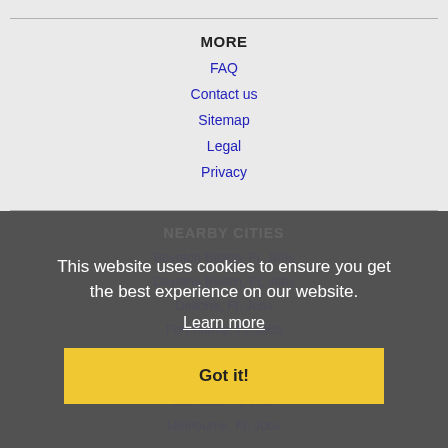MORE
FAQ
Contact us
Sitemap
Legal
Privacy
NEARBY CITIES
Boynton Beach, FL Jobs
Daytona Beach, FL Jobs
Deltona, FL Jobs
Fort Pierce, FL Jobs
Jupiter, FL Jobs
Kissimmee, FL Jobs
Lakeland, FL Jobs
Melbourne, FL Jobs
This website uses cookies to ensure you get the best experience on our website.
Learn more
Got it!